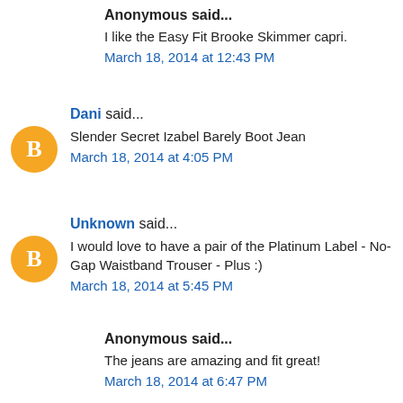Anonymous said...
I like the Easy Fit Brooke Skimmer capri.
March 18, 2014 at 12:43 PM
Dani said...
Slender Secret Izabel Barely Boot Jean
March 18, 2014 at 4:05 PM
Unknown said...
I would love to have a pair of the Platinum Label - No-Gap Waistband Trouser - Plus :)
March 18, 2014 at 5:45 PM
Anonymous said...
The jeans are amazing and fit great!
March 18, 2014 at 6:47 PM